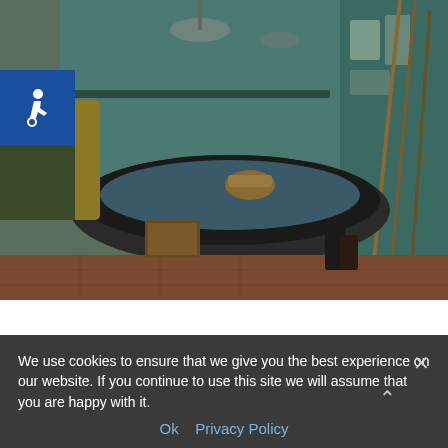[Figure (photo): Interior of Rahmi M. Koc Industrial Museum showing old fishing boat on display, surrounded by nautical artifacts, vintage tools, and maritime memorabilia on shelves and walls]
ISTANBUL, TURKEY – SEPTEMBER 20, 2020: Old fishing port recreation in Rahmi M. Koc Industrial Museum. Koc museum is industrial Mus
We use cookies to ensure that we give you the best experience on our website. If you continue to use this site we will assume that you are happy with it.
Ok   Privacy Policy